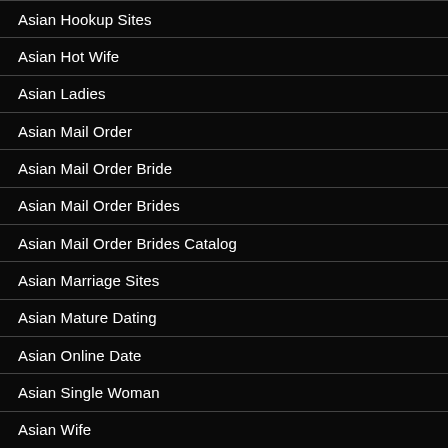Asian Hookup Sites
Asian Hot Wife
Asian Ladies
Asian Mail Order
Asian Mail Order Bride
Asian Mail Order Brides
Asian Mail Order Brides Catalog
Asian Marriage Sites
Asian Mature Dating
Asian Online Date
Asian Single Woman
Asian Wife